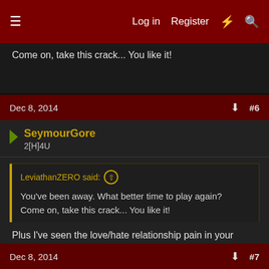Log in  Register  #  Search
Come on, take this crack... You like it!
Dec 8, 2014  #6
SeymourGore
2[H]4U
LeviathanZERO said:
You've been away. What better time to play again?
Come on, take this crack... You like it!
Plus I've seen the love/hate relationship pain in your Destiny posts, Comixbooks - a return to PS2 might be the answer to finally overcoming your Destiny addiction! 😜
Dec 8, 2014  #7